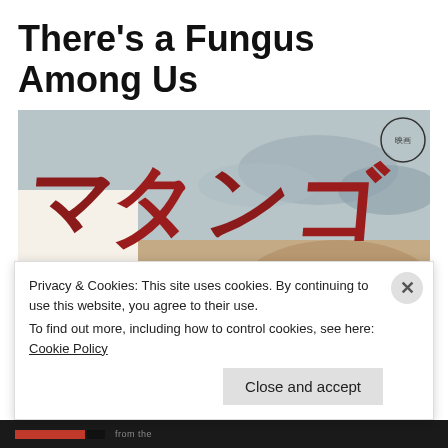There’s a Fungus Among Us
[Figure (photo): Japanese movie poster for Matango (マタンゴ), showing large red Japanese katakana text at the top, with illustrated figures including a man with a concerned expression, large blue fungal/mushroom growths, and dark hair of another character in the foreground. Smoky or misty background with additional Japanese text.]
Privacy & Cookies: This site uses cookies. By continuing to use this website, you agree to their use.
To find out more, including how to control cookies, see here: Cookie Policy
Close and accept